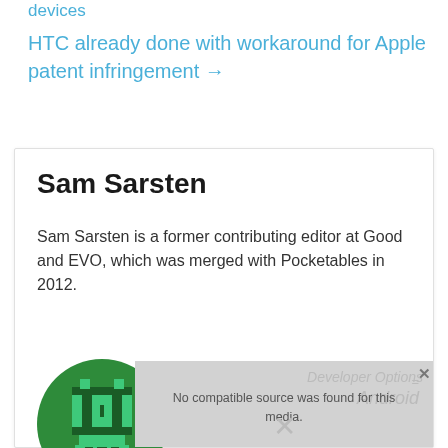devices
HTC already done with workaround for Apple patent infringement →
Sam Sarsten
Sam Sarsten is a former contributing editor at Good and EVO, which was merged with Pocketables in 2012.
[Figure (photo): Pixel art robot avatar in green on a green circle background — Sam Sarsten's profile photo]
[Figure (screenshot): Media error overlay showing 'No compatible source was found for this media.' with Developer Options and Android text watermark in background and an X close icon]